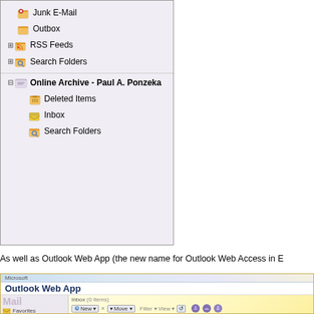[Figure (screenshot): Outlook folder tree showing Junk E-Mail, Outbox, RSS Feeds, Search Folders, and Online Archive - Paul A. Ponzeka (expanded) with Deleted Items, Inbox, Search Folders. Light purple/gray background panel.]
As well as Outlook Web App (the new name for Outlook Web Access in E
[Figure (screenshot): Outlook Web App interface showing the application title, Mail section with Favorites in left panel, and Inbox (0 Items) with toolbar buttons (New, X, Move, Filter, View) in the right panel. Light yellow gradient background.]